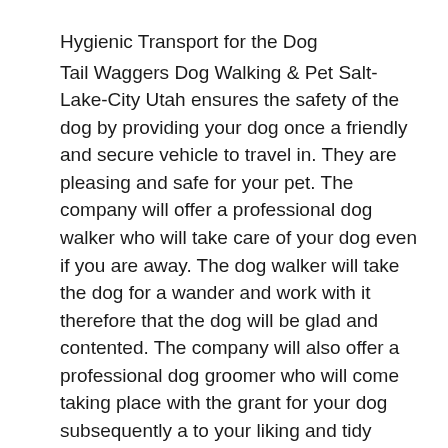Hygienic Transport for the Dog
Tail Waggers Dog Walking & Pet Salt-Lake-City Utah ensures the safety of the dog by providing your dog once a friendly and secure vehicle to travel in. They are pleasing and safe for your pet. The company will offer a professional dog walker who will take care of your dog even if you are away. The dog walker will take the dog for a wander and work with it therefore that the dog will be glad and contented. The company will also offer a professional dog groomer who will come taking place with the grant for your dog subsequently a to your liking and tidy haircut. The company is sufficiently insured and licensed to have enough money this service.
Safety Harness for the Dog